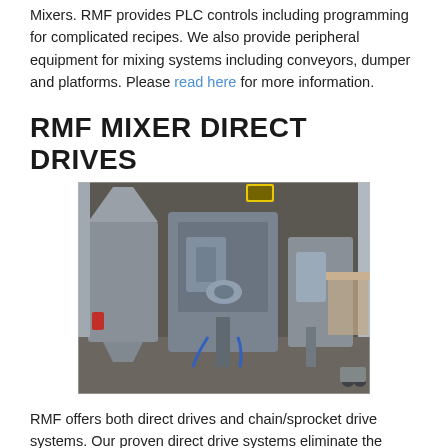Mixers.  RMF provides PLC controls including programming for complicated recipes. We also provide peripheral equipment for mixing systems including conveyors, dumper and platforms.  Please read here for more information.
RMF MIXER DIRECT DRIVES
[Figure (photo): Industrial mixer direct drive equipment — large metal mixer units with drive motors and vertical shafts on a concrete floor, photographed in a manufacturing or processing facility.]
RMF offers both direct drives and chain/sprocket drive systems.  Our proven direct drive systems eliminate the need for chain/sprocket guards and chain lubrication requirements.